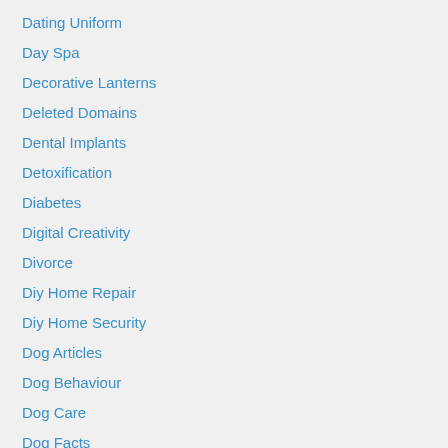Dating Uniform
Day Spa
Decorative Lanterns
Deleted Domains
Dental Implants
Detoxification
Diabetes
Digital Creativity
Divorce
Diy Home Repair
Diy Home Security
Dog Articles
Dog Behaviour
Dog Care
Dog Facts